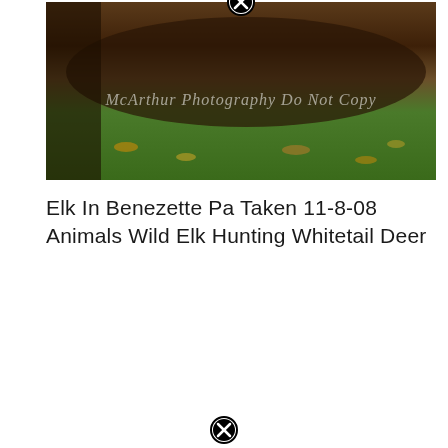[Figure (photo): A close-up photograph of an elk lying on grass with fallen leaves, taken in Benezette PA on 11-8-08. The image has a watermark reading 'McArthur Photography Do Not Copy' and a circular close/remove button at the top center.]
Elk In Benezette Pa Taken 11-8-08 Animals Wild Elk Hunting Whitetail Deer